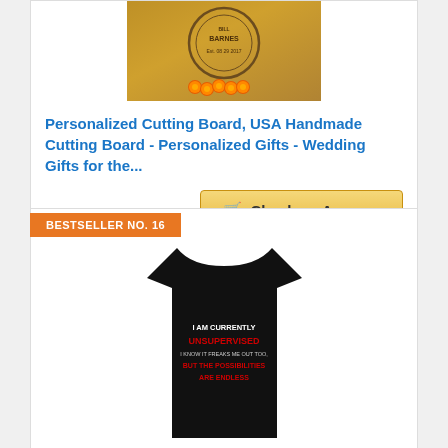[Figure (photo): Photo of a personalized wooden cutting board with circular engraved design showing 'Barnes' and 'Est. 08-29-2017', with small orange items in the foreground]
Personalized Cutting Board, USA Handmade Cutting Board - Personalized Gifts - Wedding Gifts for the...
Check on Amazon
BESTSELLER NO. 16
[Figure (photo): Black t-shirt with text 'I AM CURRENTLY UNSUPERVISED, I KNOW IT FREAKS ME OUT TOO, BUT THE POSSIBILITIES ARE ENDLESS']